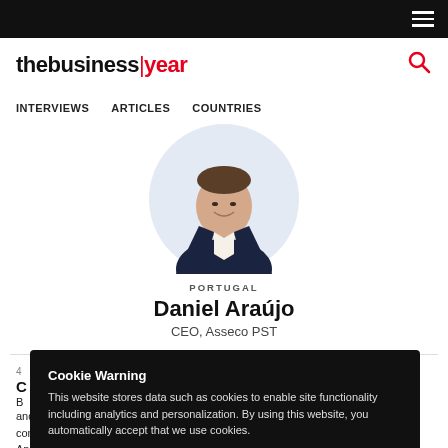thebusinessyear — navigation bar with hamburger menu
[Figure (logo): The Business Year logo — 'the' in black, 'business' in black bold, '|' pipe in red, 'year' in red; search icon on right]
INTERVIEWS   ARTICLES   COUNTRIES
[Figure (photo): Circular profile photo of Daniel Araújo, a man in a dark suit and tie, smiling]
PORTUGAL
Daniel Araújo
CEO, Asseco PST
and knowledge solutions in all markets where it operates. He has been leading the company since January 2013, when it was still called EXICTOS. Born in Luanda, Angola,
Cookie Warning
This website stores data such as cookies to enable site functionality including analytics and personalization. By using this website, you automatically accept that we use cookies.